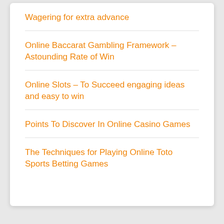Wagering for extra advance
Online Baccarat Gambling Framework – Astounding Rate of Win
Online Slots – To Succeed engaging ideas and easy to win
Points To Discover In Online Casino Games
The Techniques for Playing Online Toto Sports Betting Games